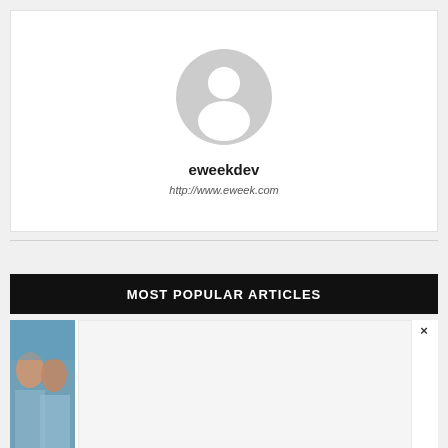[Figure (illustration): Default user avatar placeholder — grey circular silhouette of a person on white background]
eweekdev
http://www.eweek.com
MOST POPULAR ARTICLES
[Figure (photo): Article thumbnail showing two people with a blue background, partially visible]